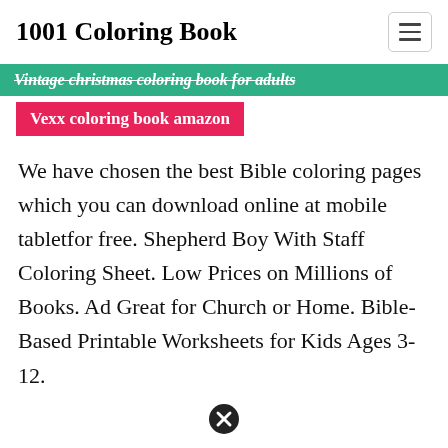1001 Coloring Book
Vintage christmas coloring book for adults
Vexx coloring book amazon
We have chosen the best Bible coloring pages which you can download online at mobile tabletfor free. Shepherd Boy With Staff Coloring Sheet. Low Prices on Millions of Books. Ad Great for Church or Home. Bible-Based Printable Worksheets for Kids Ages 3-12.
[Figure (other): Close/dismiss button icon — black circle with white X]